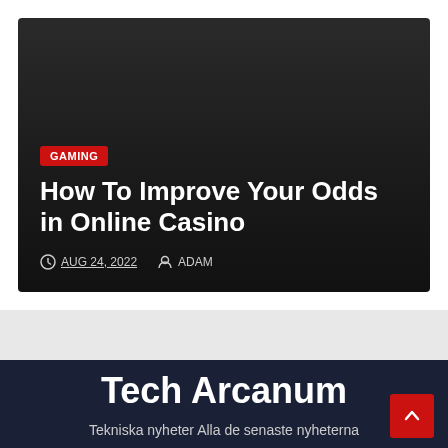[Figure (screenshot): Article card with dark gradient background showing a gaming article thumbnail]
GAMING
How To Improve Your Odds in Online Casino
AUG 24, 2022   ADAM
Tech Arcanum
Tekniska nyheter Alla de senaste nyheterna